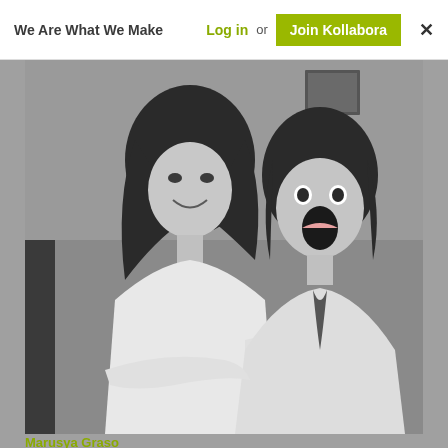We Are What We Make  Log in or  Join Kollabora  ✕
[Figure (photo): Black and white photo of two young women embracing and laughing/surprised, taken indoors]
Marusya Graso